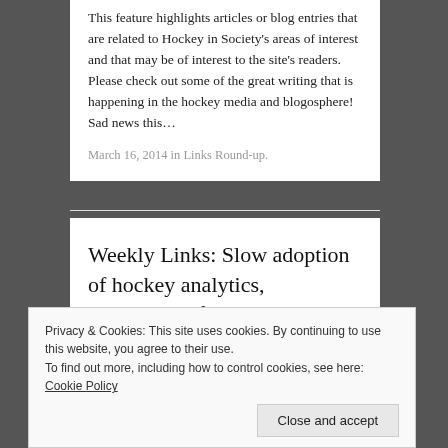This feature highlights articles or blog entries that are related to Hockey in Society's areas of interest and that may be of interest to the site's readers. Please check out some of the great writing that is happening in the hockey media and blogosphere! Sad news this…
March 16, 2014 in Links Round-up.
Weekly Links: Slow adoption of hockey analytics, University of Ottawa hockey team suspended,
Privacy & Cookies: This site uses cookies. By continuing to use this website, you agree to their use.
To find out more, including how to control cookies, see here: Cookie Policy
Close and accept